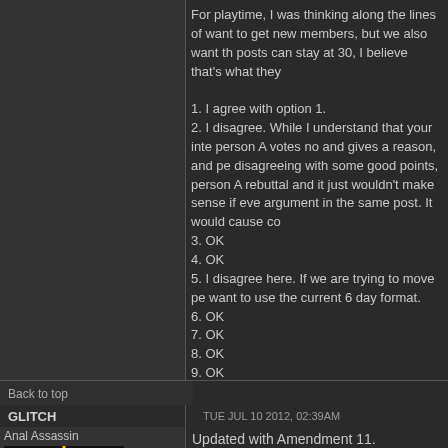For playtime, I was thinking along the lines of want to get new members, but we also want th posts can stay at 30, I believe that's what they

1. I agree with option 1.
2. I disagree. While I understand that your inte person A votes no and gives a reason, and pe disagreeing with some good points, person A rebuttal and it just wouldn't make sense if eve argument in the same post. It would cause co
3. OK
4. OK
5. I disagree here. If we are trying to move pe want to use the current 6 day format.
6. OK
7. OK
8. OK
9. OK
10. OK
Back to top
GLITCH
TUE JUL 10 2012, 02:39AM
Anal Assassin
Updated with Amendment 11.